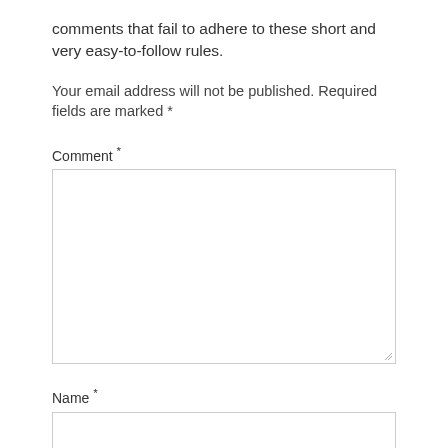comments that fail to adhere to these short and very easy-to-follow rules.
Your email address will not be published. Required fields are marked *
Comment *
Name *
Email *